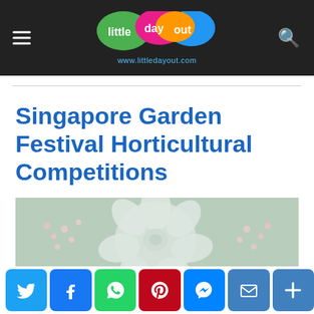little day out — www.littledayout.com
Singapore Garden Festival Horticultural Competitions
[Figure (photo): Close-up photo of succulents and small flowers, featuring a large pale grey-green echeveria rosette surrounded by small pink flowers and other succulent plants.]
Social share buttons: Twitter, Facebook, WhatsApp, Pinterest, Messenger, Email, More